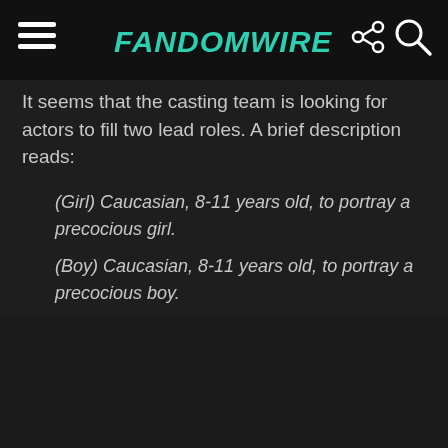FandomWire
It seems that the casting team is looking for actors to fill two lead roles. A brief description reads:
(Girl) Caucasian, 8-11 years old, to portray a precocious girl.
(Boy) Caucasian, 8-11 years old, to portray a precocious boy.